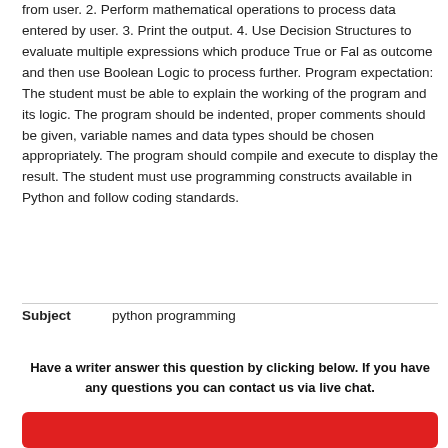from user. 2. Perform mathematical operations to process data entered by user. 3. Print the output. 4. Use Decision Structures to evaluate multiple expressions which produce True or Fal as outcome and then use Boolean Logic to process further. Program expectation: The student must be able to explain the working of the program and its logic. The program should be indented, proper comments should be given, variable names and data types should be chosen appropriately. The program should compile and execute to display the result. The student must use programming constructs available in Python and follow coding standards.
| Subject |  |
| --- | --- |
| Subject | python programming |
Have a writer answer this question by clicking below. If you have any questions you can contact us via live chat.